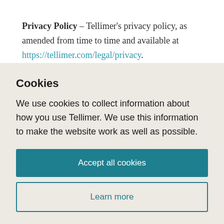Privacy Policy – Tellimer's privacy policy, as amended from time to time and available at https://tellimer.com/legal/privacy.
Receiving Party – a party, or a party's Affiliates
Cookies
We use cookies to collect information about how you use Tellimer. We use this information to make the website work as well as possible.
Accept all cookies
Learn more